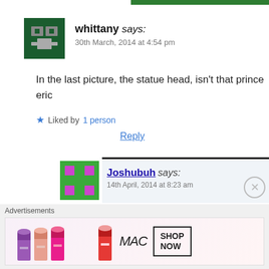[Figure (other): Green header bar at top right]
[Figure (other): Avatar icon for whittany - green pixelated icon]
whittany says:
30th March, 2014 at 4:54 pm
In the last picture, the statue head, isn't that prince eric
★ Liked by 1 person
Reply
[Figure (other): Avatar icon for Joshubuh - green pixelated icon with pink dots]
Joshubuh says:
14th April, 2014 at 8:23 am
Perhaps! Denmark certainly isn't far away. Mermaid how could Eric already be old eno a relative?
Advertisements
[Figure (other): MAC cosmetics advertisement banner with lipsticks and SHOP NOW text]